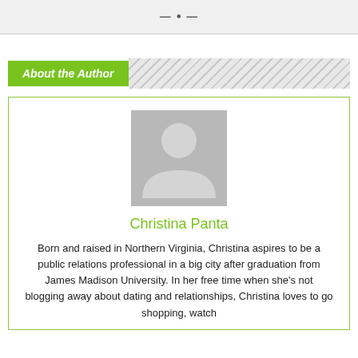About the Author
[Figure (illustration): Generic avatar placeholder silhouette of a person on grey background]
Christina Panta
Born and raised in Northern Virginia, Christina aspires to be a public relations professional in a big city after graduation from James Madison University. In her free time when she's not blogging away about dating and relationships, Christina loves to go shopping, watch